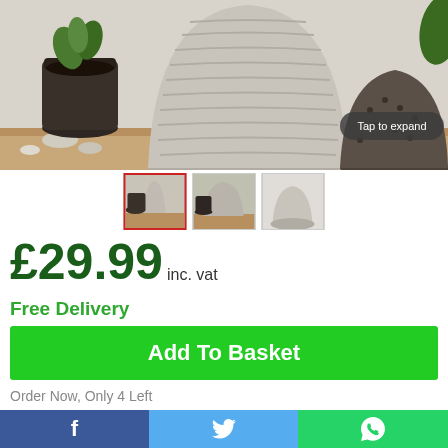[Figure (photo): Product image showing decorative plant pots - a large ribbed grey pot in center, a smaller dark pot with plant on the left, and a textured dark pot on the right, displayed on a wooden surface with pebbles. Overlay text reads 'Tap to expand'.]
[Figure (photo): Three thumbnail images of the plant pots. First thumbnail is selected (red border).]
£29.99 inc. vat
Free Delivery
Add To Basket
Order Now, Only 4 Left
[Figure (other): PayPal payment option bar partially visible]
f  (Facebook)    (Twitter)    (WhatsApp)